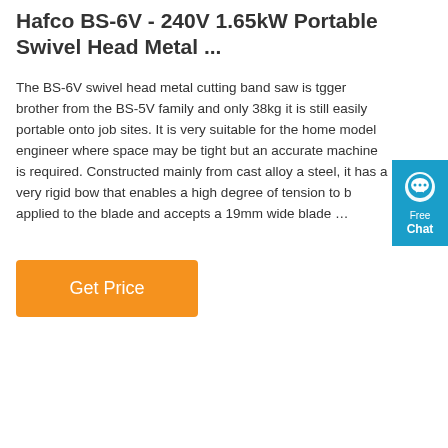Hafco BS-6V - 240V 1.65kW Portable Swivel Head Metal ...
The BS-6V swivel head metal cutting band saw is tgger brother from the BS-5V family and only 38kg it is still easily portable onto job sites. It is very suitable for the home model engineer where space may be tight but an accurate machine is required. Constructed mainly from cast alloy a steel, it has a very rigid bow that enables a high degree of tension to b applied to the blade and accepts a 19mm wide blade …
[Figure (other): Blue chat widget with speech bubble icon, 'Free Chat' text]